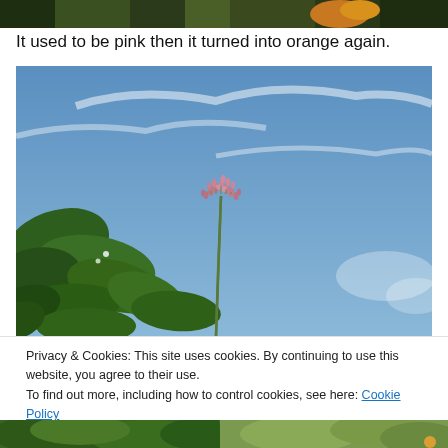[Figure (photo): Partial view of a plant/foliage against a dark background, cropped at top of page]
It used to be pink then it turned into orange again.
[Figure (photo): Photograph of a pink flower cluster on a stem against a blue sky, with green leaves in the lower left corner]
Privacy & Cookies: This site uses cookies. By continuing to use this website, you agree to their use.
To find out more, including how to control cookies, see here: Cookie Policy
[Figure (photo): Partial view of green foliage and plant at the bottom of the page]